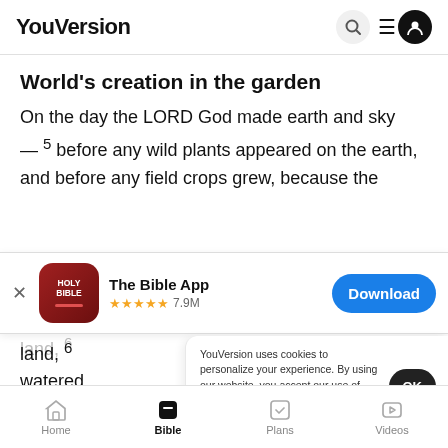YouVersion
World's creation in the garden
On the day the LORD God made earth and sky — 5 before any wild plants appeared on the earth, and before any field crops grew, because the
[Figure (screenshot): App download banner for The Bible App with 5 stars and 7.9M ratings, with a Download button]
land, 6
watered
YouVersion uses cookies to personalize your experience. By using our website, you accept our use of cookies as described in our Privacy Policy.
Home   Bible   Plans   Videos